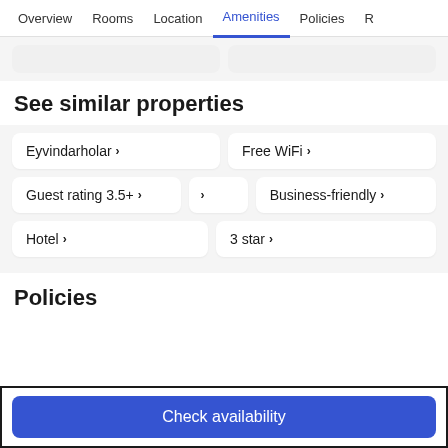Overview | Rooms | Location | Amenities | Policies | R
See similar properties
Eyvindarholar ›
Free WiFi ›
Guest rating 3.5+ ›
›
Business-friendly ›
Hotel ›
3 star ›
Policies
Check availability